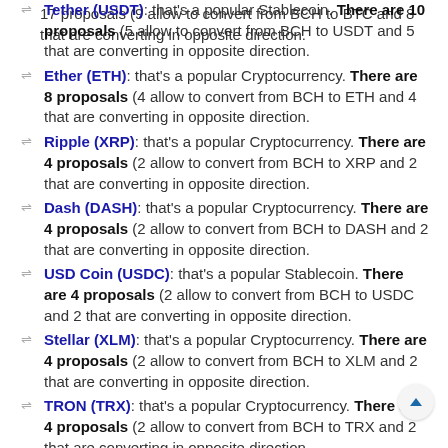17 proposals (9 allow to convert from BCH to BTC and 8 that are converting in opposite direction.
Tether (USDT): that's a popular Stablecoin. There are 10 proposals (5 allow to convert from BCH to USDT and 5 that are converting in opposite direction.
Ether (ETH): that's a popular Cryptocurrency. There are 8 proposals (4 allow to convert from BCH to ETH and 4 that are converting in opposite direction.
Ripple (XRP): that's a popular Cryptocurrency. There are 4 proposals (2 allow to convert from BCH to XRP and 2 that are converting in opposite direction.
Dash (DASH): that's a popular Cryptocurrency. There are 4 proposals (2 allow to convert from BCH to DASH and 2 that are converting in opposite direction.
USD Coin (USDC): that's a popular Stablecoin. There are 4 proposals (2 allow to convert from BCH to USDC and 2 that are converting in opposite direction.
Stellar (XLM): that's a popular Cryptocurrency. There are 4 proposals (2 allow to convert from BCH to XLM and 2 that are converting in opposite direction.
TRON (TRX): that's a popular Cryptocurrency. There are 4 proposals (2 allow to convert from BCH to TRX and 2 that are converting in opposite direction.
TrueUSD (TUSD): that's a popular Stablecoin. There are 4 proposals (2 allow to convert from BCH to TUSD and that are converting in opposite direction.
Uniswap (UNI): that's a popular Token. There are 4